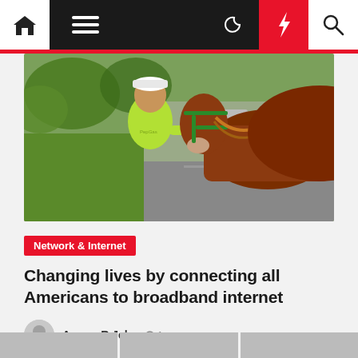Navigation bar with home, menu, moon, lightning, and search icons
[Figure (photo): A man in a yellow-green hard hat and lime green t-shirt standing next to a brown horse with a green harness, outdoors with green field and road in background]
Network & Internet
Changing lives by connecting all Americans to broadband internet
Amora R Jelo  1 year ago